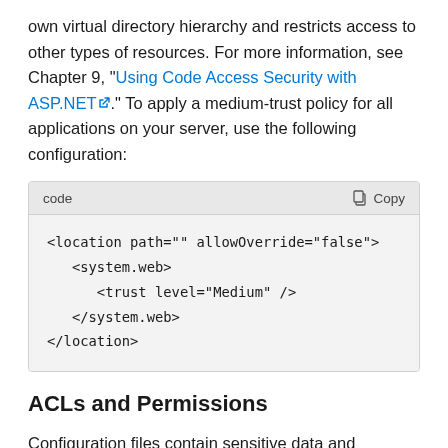own virtual directory hierarchy and restricts access to other types of resources. For more information, see Chapter 9, "Using Code Access Security with ASP.NET". To apply a medium-trust policy for all applications on your server, use the following configuration:
[Figure (screenshot): Code block showing XML configuration: <location path="" allowOverride="false"> <system.web> <trust level="Medium" /> </system.web> </location>]
ACLs and Permissions
Configuration files contain sensitive data and therefore require appropriately configured ACLs to restrict access.